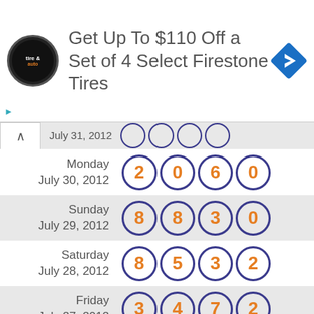[Figure (screenshot): Advertisement banner: tire and auto logo, text 'Get Up To $110 Off a Set of 4 Select Firestone Tires', blue diamond turn arrow icon]
| Date | Numbers |
| --- | --- |
| July 31, 2012 | partial row |
| Monday July 30, 2012 | 2 0 6 0 |
| Sunday July 29, 2012 | 8 8 3 0 |
| Saturday July 28, 2012 | 8 5 3 2 |
| Friday July 27, 2012 | 3 4 7 2 |
| Thursday July 26, 2012 | 1 6 6 7 |
| Wednesday | partial row |